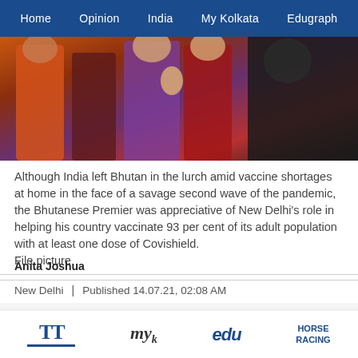Home | Opinion | India | My Kolkata | Edugraph
[Figure (photo): People at a vaccination site, a woman in a blue mask and purple saree receiving or discussing vaccine with a healthcare worker]
Although India left Bhutan in the lurch amid vaccine shortages at home in the face of a savage second wave of the pandemic, the Bhutanese Premier was appreciative of New Delhi's role in helping his country vaccinate 93 per cent of its adult population with at least one dose of Covishield.
File picture
Anita Joshua
New Delhi | Published 14.07.21, 02:08 AM
Advertisement
TT | My Kolkata | edu | HORSE RACING